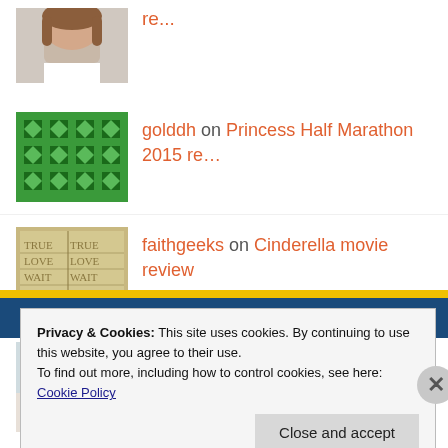[partial] on [partial link]
golddh on Princess Half Marathon 2015 re...
faithgeeks on Cinderella movie review
beckyginther on Cinderella movie review
Privacy & Cookies: This site uses cookies. By continuing to use this website, you agree to their use.
To find out more, including how to control cookies, see here: Cookie Policy
Close and accept